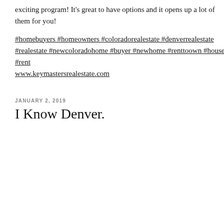exciting program! It's great to have options and it opens up a lot of them for you!
#homebuyers #homeowners #coloradorealestate #denverrealestate #realestate #newcoloradohome #buyer #newhome #renttoown #house #rent www.keymastersrealestate.com
JANUARY 2, 2019
I Know Denver.